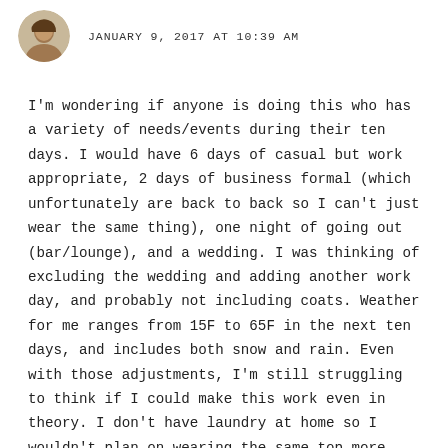JANUARY 9, 2017 AT 10:39 AM
I'm wondering if anyone is doing this who has a variety of needs/events during their ten days. I would have 6 days of casual but work appropriate, 2 days of business formal (which unfortunately are back to back so I can't just wear the same thing), one night of going out (bar/lounge), and a wedding. I was thinking of excluding the wedding and adding another work day, and probably not including coats. Weather for me ranges from 15F to 65F in the next ten days, and includes both snow and rain. Even with those adjustments, I'm still struggling to think if I could make this work even in theory. I don't have laundry at home so I wouldn't plan on wearing the same top more than twice. I know the point is to have fun and not think too much about it, but I've been trying to play around with combinations and I can't seem to get myself realistically through all ten